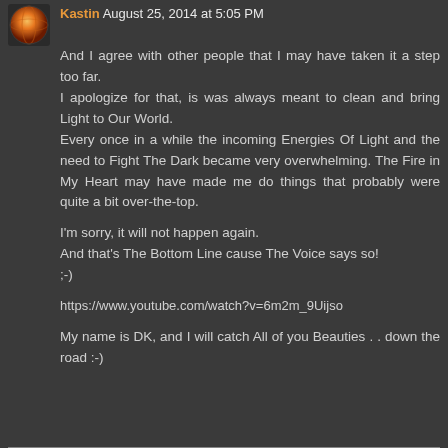Kastin August 25, 2014 at 5:05 PM
And I agree with other people that I may have taken it a step too far.
I apologize for that, is was always meant to clean and bring Light to Our World.
Every once in a while the incoming Energies Of Light and the need to Fight The Dark became very overwhelming. The Fire in My Heart may have made me do things that probably were quite a bit over-the-top.

I'm sorry, it will not happen again.
And that's The Bottom Line cause The Voice says so!
;-)

https://www.youtube.com/watch?v=6m2m_9Uijso


My name is DK, and I will catch All of you Beauties . . down the road :-)